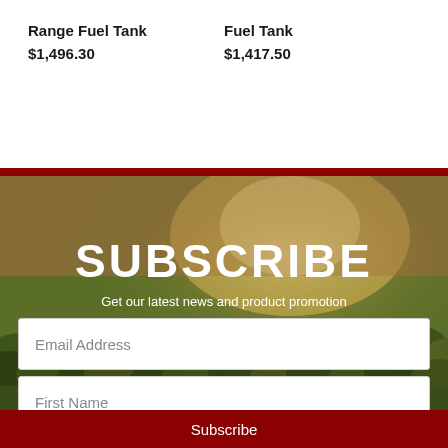Range Fuel Tank
$1,496.30
Fuel Tank
$1,417.50
[Figure (photo): Aerial or wide-angle photo of Australian bush/scrubland landscape with golden sunlight, used as background for subscription section]
SUBSCRIBE
Get our latest news and product promotion
Email Address
First Name
Last Name
Subscribe